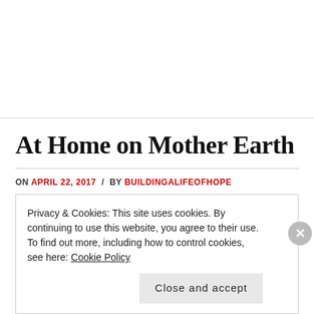At Home on Mother Earth
ON APRIL 22, 2017 / BY BUILDINGALIFEOFHOPE
Privacy & Cookies: This site uses cookies. By continuing to use this website, you agree to their use.
To find out more, including how to control cookies, see here: Cookie Policy
Close and accept